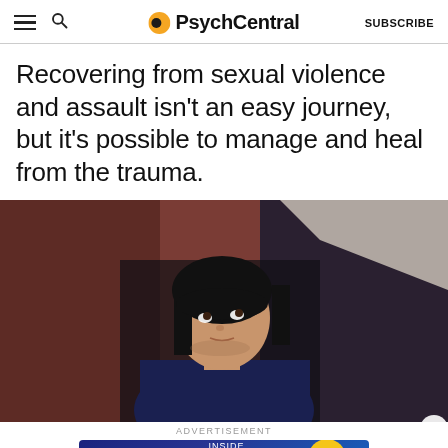PsychCentral  SUBSCRIBE
Recovering from sexual violence and assault isn't an easy journey, but it's possible to manage and heal from the trauma.
[Figure (photo): A young woman with dark hair and a dark hoodie looking upward against a blurred reddish-brown urban building background]
ADVERTISEMENT
[Figure (other): PsychCentral advertisement banner: Inside Mental Health Podcast with a Learn More button and yellow circle illustration]